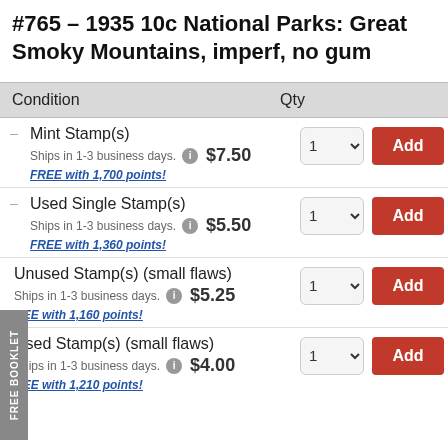#765 – 1935 10c National Parks: Great Smoky Mountains, imperf, no gum
| Condition | Qty |  |
| --- | --- | --- |
| Mint Stamp(s)
Ships in 1-3 business days. $7.50
FREE with 1,700 points! | 1 | Add |
| Used Single Stamp(s)
Ships in 1-3 business days. $5.50
FREE with 1,360 points! | 1 | Add |
| Unused Stamp(s) (small flaws)
Ships in 1-3 business days. $5.25
FREE with 1,160 points! | 1 | Add |
| Used Stamp(s) (small flaws)
Ships in 1-3 business days. $4.00
FREE with 1,210 points! | 1 | Add |